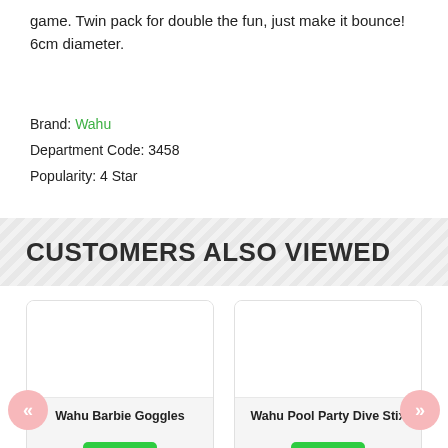game. Twin pack for double the fun, just make it bounce! 6cm diameter.
Brand: Wahu
Department Code: 3458
Popularity: 4 Star
CUSTOMERS ALSO VIEWED
Wahu Barbie Goggles
In Stock
$14.99
Wahu Pool Party Dive Stix
In Stock
$16.99